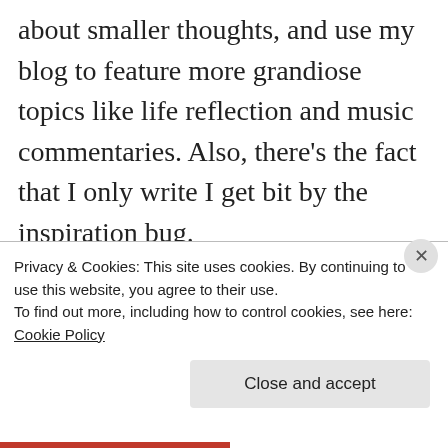about smaller thoughts, and use my blog to feature more grandiose topics like life reflection and music commentaries. Also, there's the fact that I only write I get bit by the inspiration bug.
On that note, I've become inspired to write feature stories on upcoming talent on my blog to help upcoming bands, actors, and other artists get their name out to the world. All I ask
Privacy & Cookies: This site uses cookies. By continuing to use this website, you agree to their use.
To find out more, including how to control cookies, see here: Cookie Policy
Close and accept